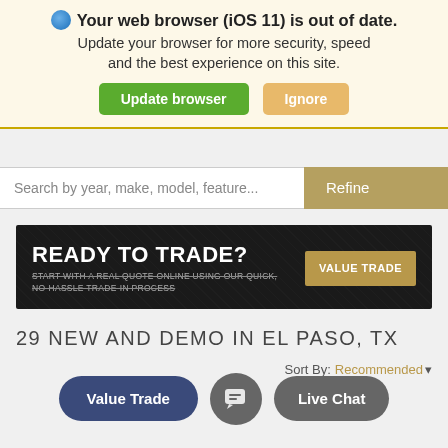[Figure (screenshot): Browser out-of-date warning banner with globe icon, bold text 'Your web browser (iOS 11) is out of date.', subtext 'Update your browser for more security, speed and the best experience on this site.', green 'Update browser' button and tan 'Ignore' button.]
[Figure (screenshot): Car dealership website UI showing: dark grey MY tab top-right, search bar with placeholder 'Search by year, make, model, feature...' and a gold Refine button, a dark 'READY TO TRADE? VALUE TRADE' advertisement banner, results header '29 NEW AND DEMO IN EL PASO, TX', Sort By: Recommended dropdown, and bottom floating buttons: Value Trade, chat icon, Live Chat.]